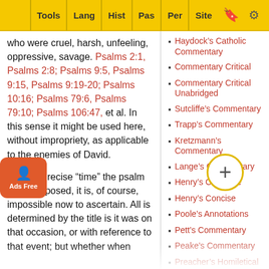Tools | Lang | Hist | Pas | Per | Site
who were cruel, harsh, unfeeling, oppressive, savage. Psalms 2:1, Psalms 2:8; Psalms 9:5, Psalms 9:15, Psalms 9:19-20; Psalms 10:16; Psalms 79:6, Psalms 79:10; Psalms 106:47, et al. In this sense it might be used here, without impropriety, as applicable to the enemies of David.
At what precise “time” the psalm was composed, it is, of course, impossible now to ascertain. All is determined by the title is it was on that occasion, or with reference to that event; but whether when
Haydock's Catholic Commentary
Commentary Critical
Commentary Critical Unabridged
Sutcliffe's Commentary
Trapp's Commentary
Kretzmann's Commentary
Lange's Commentary
Henry's Complete
Henry's Concise
Poole's Annotations
Pett's Commentary
Peake's Commentary
Preacher's Homiletical
Poor Man's Commentary
Benson's Commentary
rator
ary
ible